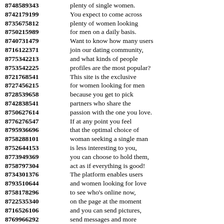8748589343 plenty of single women.
8742179199 You expect to come across
8735675812 plenty of women looking
8750215989 for men on a daily basis.
8740731479 Want to know how many users
8716122371 join our dating community,
8775342213 and what kinds of people
8753542225 profiles are the most popular?
8721768541 This site is the exclusive
8727456215 for women looking for men
8728539658 because you get to pick
8742838541 partners who share the
8750627614 passion with the one you love.
8776276547 If at any point you feel
8795936696 that the optimal choice of
8758288101 woman seeking a single man
8752644153 is less interesting to you,
8773949369 you can choose to hold them,
8758797304 act as if everything is good!
8734301376 The platform enables users
8793510644 and women looking for love
8758178296 to see who's online now,
8722535340 on the page at the moment
8716526106 and you can send pictures,
8769966292 send messages and more